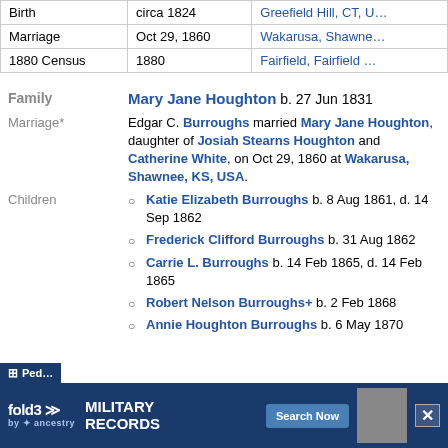|  |  |  |
| --- | --- | --- |
| Birth | circa 1824 | Greefield Hill, CT, U... |
| Marriage | Oct 29, 1860 | Wakarusa, Shawne... |
| 1880 Census | 1880 | Fairfield, Fairfield ... |
Family   Mary Jane Houghton b. 27 Jun 1831
Marriage*   Edgar C. Burroughs married Mary Jane Houghton, daughter of Josiah Stearns Houghton and Catherine White, on Oct 29, 1860 at Wakarusa, Shawnee, KS, USA.
Katie Elizabeth Burroughs b. 8 Aug 1861, d. 14 Sep 1862
Frederick Clifford Burroughs b. 31 Aug 1862
Carrie L. Burroughs b. 14 Feb 1865, d. 14 Feb 1865
Robert Nelson Burroughs+ b. 2 Feb 1868
Annie Houghton Burroughs b. 6 May 1870
[Figure (infographic): fold3 by Ancestry advertisement banner for Military Records with Search Now button]